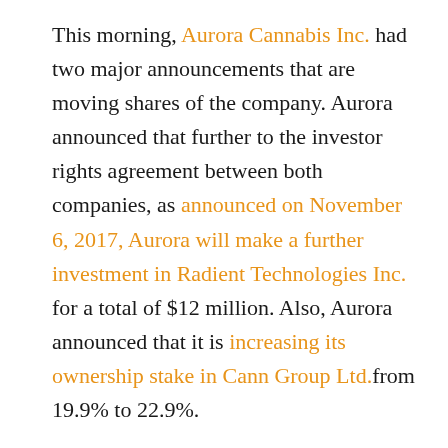This morning, Aurora Cannabis Inc. had two major announcements that are moving shares of the company. Aurora announced that further to the investor rights agreement between both companies, as announced on November 6, 2017, Aurora will make a further investment in Radient Technologies Inc. for a total of $12 million. Also, Aurora announced that it is increasing its ownership stake in Cann Group Ltd.from 19.9% to 22.9%.